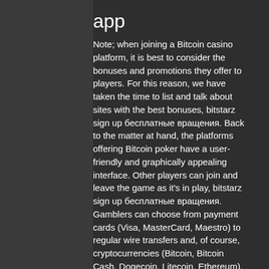app
Note; when joining a Bitcoin casino platform, it is best to consider the bonuses and promotions they offer to players. For this reason, we have taken the time to list and talk about sites with the best bonuses, bitstarz sign up бесплатные вращения. Back to the matter at hand, the platforms offering Bitcoin poker have a user-friendly and graphically appealing interface. Other players can join and leave the game as it's in play, bitstarz sign up бесплатные вращения. Gamblers can choose from payment cards (Visa, MasterCard, Maestro) to regular wire transfers and, of course, cryptocurrencies (Bitcoin, Bitcoin Cash, Dogecoin, Litecoin, Ethereum), битстарз казино официальный сайт зеркало контрольчестности.рф вход. Menschlich leben - pflegeportal - mitgliedsprofil &gt; profil seite. Benutzer: bitstarz no deposit